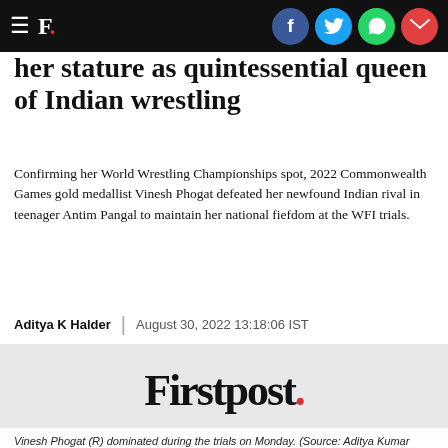F. [Firstpost logo nav bar with social share icons: Facebook, Twitter, WhatsApp, Email]
her stature as quintessential queen of Indian wrestling
Confirming her World Wrestling Championships spot, 2022 Commonwealth Games gold medallist Vinesh Phogat defeated her newfound Indian rival in teenager Antim Pangal to maintain her national fiefdom at the WFI trials.
Aditya K Halder  |  August 30, 2022 13:18:06 IST
[Figure (logo): Firstpost logo with a red period at the end, on a light grey background]
Vinesh Phogat (R) dominated during the trials on Monday. (Source: Aditya Kumar Halder)